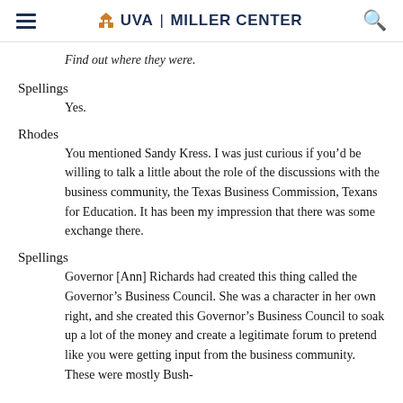UVA | MILLER CENTER
Find out where they were.
Spellings
Yes.
Rhodes
You mentioned Sandy Kress. I was just curious if you'd be willing to talk a little about the role of the discussions with the business community, the Texas Business Commission, Texans for Education. It has been my impression that there was some exchange there.
Spellings
Governor [Ann] Richards had created this thing called the Governor's Business Council. She was a character in her own right, and she created this Governor's Business Council to soak up a lot of the money and create a legitimate forum to pretend like you were getting input from the business community. These were mostly Bush-